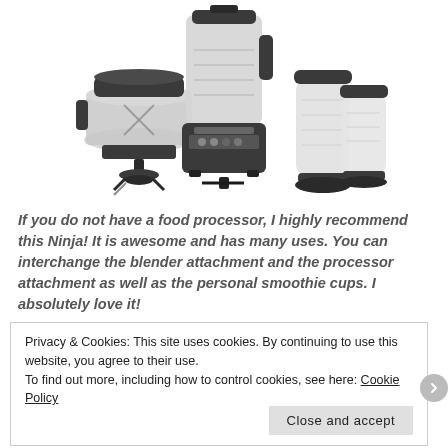[Figure (photo): A Ninja kitchen blender system showing the main blender with tall pitcher on top of the motor base, a food processor bowl attachment on the left, a blade attachment in the center, and two personal smoothie cups with lids on the right. All components are dark grey/black.]
If you do not have a food processor, I highly recommend this Ninja! It is awesome and has many uses. You can interchange the blender attachment and the processor attachment as well as the personal smoothie cups. I absolutely love it!
Privacy & Cookies: This site uses cookies. By continuing to use this website, you agree to their use.
To find out more, including how to control cookies, see here: Cookie Policy
Close and accept